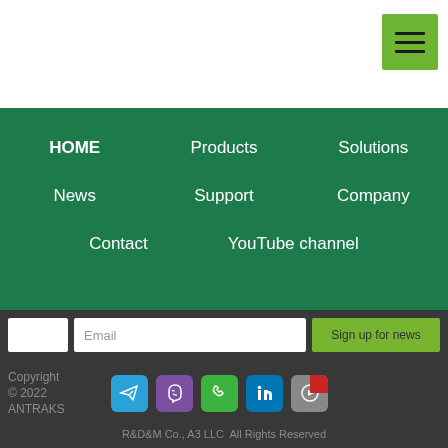[Figure (other): Hamburger menu icon — three horizontal lines on a green square button]
HOME
Products
Solutions
News
Support
Company
Contact
YouTube channel
Email  Sign up for news
Copyright © 2022 ANTRAKS
R&D&M Co., A3 LLC  All Rights Reserved